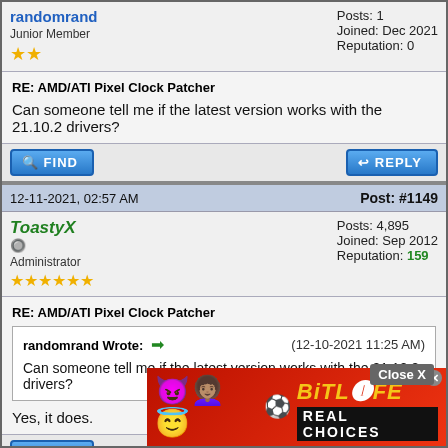randomrand - Junior Member - Posts: 1, Joined: Dec 2021, Reputation: 0
RE: AMD/ATI Pixel Clock Patcher
Can someone tell me if the latest version works with the 21.10.2 drivers?
12-11-2021, 02:57 AM | Post: #1149
ToastyX - Administrator - Posts: 4,895, Joined: Sep 2012, Reputation: 159
RE: AMD/ATI Pixel Clock Patcher
randomrand Wrote: (12-10-2021 11:25 AM) Can someone tell me if the latest version works with the 21.10.2 drivers?
Yes, it does.
[Figure (screenshot): BitLife advertisement banner with emojis and 'REAL CHOICES' text]